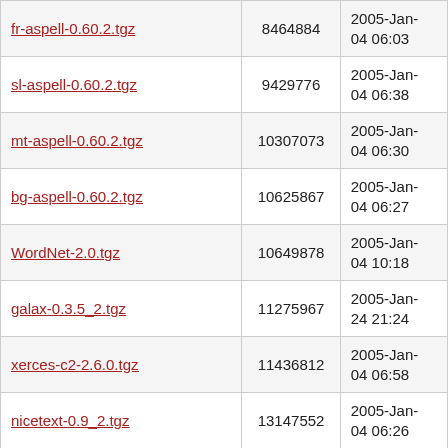| fr-aspell-0.60.2.tgz | 8464884 | 2005-Jan-04 06:03 |
| sl-aspell-0.60.2.tgz | 9429776 | 2005-Jan-04 06:38 |
| mt-aspell-0.60.2.tgz | 10307073 | 2005-Jan-04 06:30 |
| bg-aspell-0.60.2.tgz | 10625867 | 2005-Jan-04 06:27 |
| WordNet-2.0.tgz | 10649878 | 2005-Jan-04 10:18 |
| galax-0.3.5_2.tgz | 11275967 | 2005-Jan-24 21:24 |
| xerces-c2-2.6.0.tgz | 11436812 | 2005-Jan-04 06:58 |
| nicetext-0.9_2.tgz | 13147552 | 2005-Jan-04 06:26 |
| ja-mecab-0.76_1.tgz | 13558006 | 2005-Jan-04 05:10 |
| it-aspell-0.60.2.tgz | 13924564 | 2005-Jan-04 06:32 |
| be-aspell-0.60.2.tgz | 14322306 | 2005-Jan-04 06:31 |